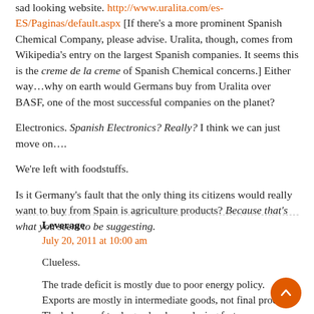sad looking website. http://www.uralita.com/es-ES/Paginas/default.aspx [If there's a more prominent Spanish Chemical Company, please advise. Uralita, though, comes from Wikipedia's entry on the largest Spanish companies. It seems this is the creme de la creme of Spanish Chemical concerns.] Either way…why on earth would Germans buy from Uralita over BASF, one of the most successful companies on the planet?
Electronics. Spanish Electronics? Really? I think we can just move on….
We're left with foodstuffs.
Is it Germany's fault that the only thing its citizens would really want to buy from Spain is agriculture products? Because that's what you seem to be suggesting.
Leverage
July 20, 2011 at 10:00 am
Clueless.
The trade deficit is mostly due to poor energy policy. Exports are mostly in intermediate goods, not final products. The balance of trade gap has been closing fast